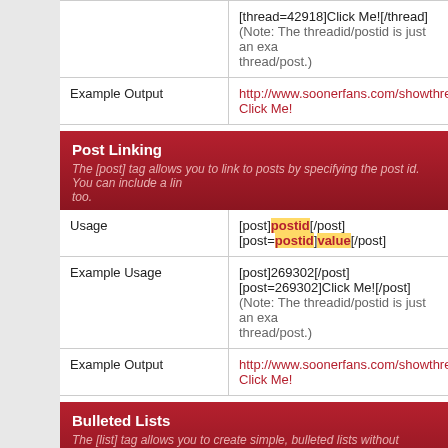|  |  |
| --- | --- |
|  | [thread=42918]Click Me![/thread]
(Note: The threadid/postid is just an example thread/post.) |
| Example Output | http://www.soonerfans.com/showthread.p...
Click Me! |
| Usage (Post Linking) | [post]postid[/post]
[post=postid]value[/post] |
| Example Usage | [post]269302[/post]
[post=269302]Click Me![/post]
(Note: The threadid/postid is just an example thread/post.) |
| Example Output | http://www.soonerfans.com/showthread.p...
Click Me! |
| Usage (Bulleted Lists) | [list]value[/list] |
| Example Usage | [list] |
Post Linking
The [post] tag allows you to link to posts by specifying the post id. You can include a link too.
Bulleted Lists
The [list] tag allows you to create simple, bulleted lists without specifying an option. Use the [*] tag to denote list items.